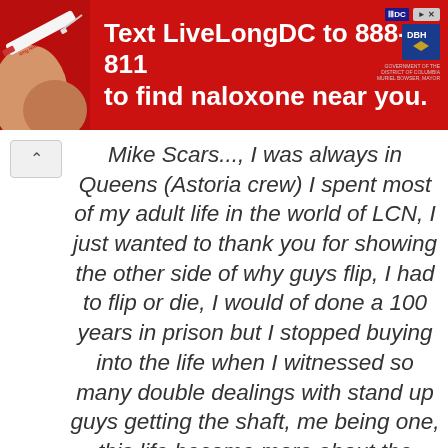[Figure (screenshot): Red advertisement banner: 'Text LiveLongDC to 888-811 to find naloxone near you.' with DC government logos and a syringe image on the left.]
Mike Scars..., I was always in Queens (Astoria crew) I spent most of my adult life in the world of LCN, I just wanted to thank you for showing the other side of why guys flip, I had to flip or die, I would of done a 100 years in prison but I stopped buying into the life when I witnessed so many double dealings with stand up guys getting the shaft, me being one, this life became more about the dollar than honor, I've seen so